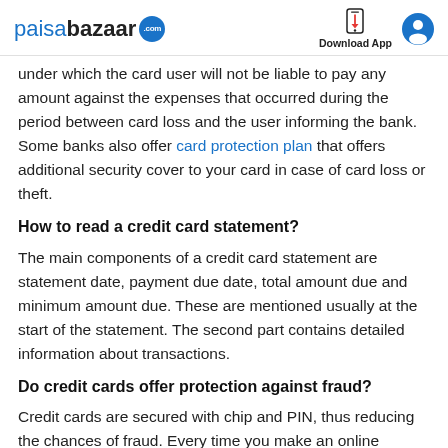paisabazaar.com | Download App
under which the card user will not be liable to pay any amount against the expenses that occurred during the period between card loss and the user informing the bank. Some banks also offer card protection plan that offers additional security cover to your card in case of card loss or theft.
How to read a credit card statement?
The main components of a credit card statement are statement date, payment due date, total amount due and minimum amount due. These are mentioned usually at the start of the statement. The second part contains detailed information about transactions.
Do credit cards offer protection against fraud?
Credit cards are secured with chip and PIN, thus reducing the chances of fraud. Every time you make an online payment,